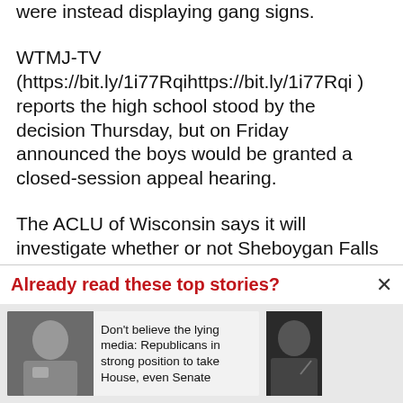were instead displaying gang signs.
WTMJ-TV (https://bit.ly/1i77Rqihttps://bit.ly/1i77Rqi ) reports the high school stood by the decision Thursday, but on Friday announced the boys would be granted a closed-session appeal hearing.
The ACLU of Wisconsin says it will investigate whether or not Sheboygan Falls High School is complying with state and federal guidelines
Already read these top stories?
Don't believe the lying media: Republicans in strong position to take House, even Senate